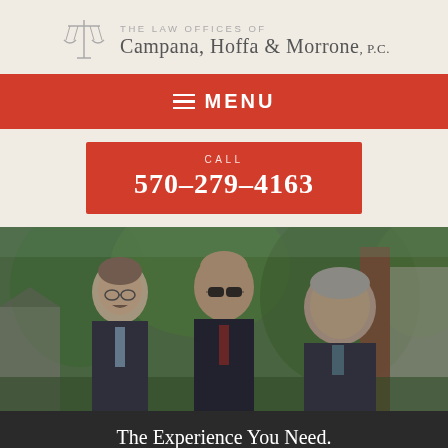THE LAW OFFICES OF Campana, Hoffa & Morrone, P.C.
MENU
CALL 570-279-4163
[Figure (photo): Three male attorneys in suits standing outdoors in front of a building with greenery]
The Experience You Need. The Results You Want.